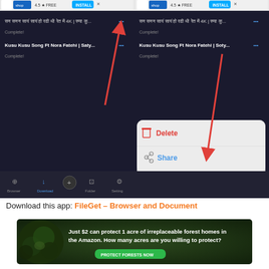[Figure (screenshot): Side-by-side screenshots of a mobile video downloader app showing downloaded videos list with '...' menu button highlighted by red arrow on left, and Delete/Share/Cancel action sheet with arrow pointing to Share on the right.]
Download this app: FileGet – Browser and Document
[Figure (infographic): Advertisement banner: 'Just $2 can protect 1 acre of irreplaceable forest homes in the Amazon. How many acres are you willing to protect?' with 'PROTECT FORESTS NOW' button on dark forest background.]